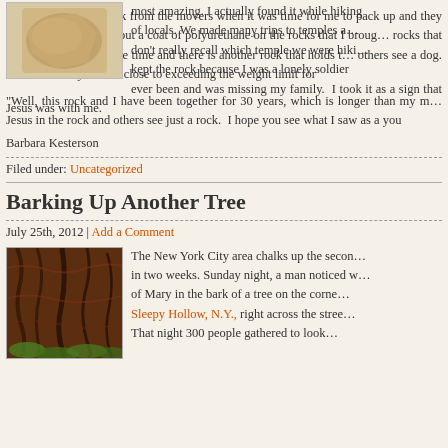[Figure (photo): Photo of a rock or stone artifact on a light background]
most amazing. I actually found it while hiking with a group of locals. We made many trips to temples and I don't really recall which temple we were hiking… kept the rock because I was a lonely soldier ever been and was missing my family. I took it as a sign that Jesus was with me.
“I did get quite the look from the movers when it was time for me to pack up and… they required of me was to put a coat of polyurethane on the rocks that I brought… rocks that grabbed my fancy at the time and there is another rock that holds t… others see a dog. Needless to say I came close to exceeding the weight limit for
“Well, this rock and I have been together for 30 years, which is longer than my m… Jesus in the rock and others see just a rock. I hope you see what I saw as a you
Barbara Kesterson
Filed under: Uncategorized
Barking Up Another Tree
July 25th, 2012 | Add a Comment
[Figure (photo): Photo of tree bark with reddish-brown texture and green leaves visible]
The New York City area chalks up the second… in two weeks. Sunday night, a man noticed w… of Mary in the bark of a tree on the corne… Sleepy Hollow, N.Y., right across the stree… That night 300 people gathered to look…